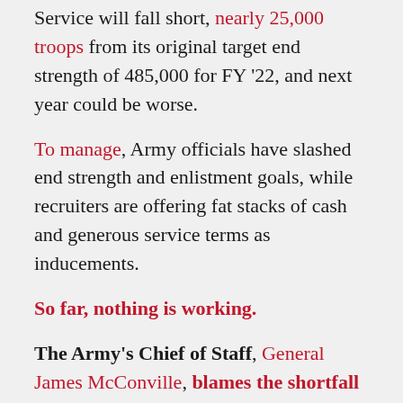Service will fall short, nearly 25,000 troops from its original target end strength of 485,000 for FY '22, and next year could be worse.
To manage, Army officials have slashed end strength and enlistment goals, while recruiters are offering fat stacks of cash and generous service terms as inducements.
So far, nothing is working.
The Army's Chief of Staff, General James McConville, blames the shortfall on the competition with the private sector. Others blame upwardly mobile families who would rather their children attend college than wear a uniform.
Both are old saws. And this year, they ring hollow.